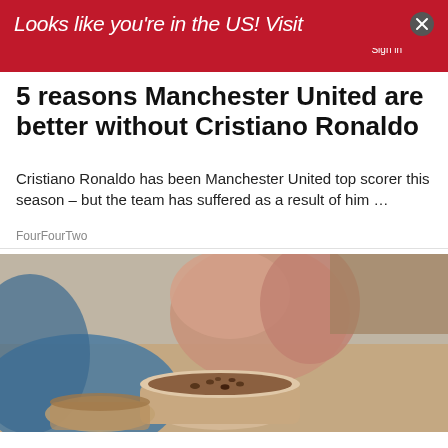FourFourTwo — Magazine | Sign in | Search
5 reasons Manchester United are better without Cristiano Ronaldo
Cristiano Ronaldo has been Manchester United top scorer this season – but the team has suffered as a result of him ...
FourFourTwo
[Figure (photo): Close-up photo of a person holding a coffee cup with latte art, warm tones]
Looks like you're in the US! Visit
Top Junior Gold Mining Stock — Get access to the next Top mining "Micro Cap" here! — EXPLORE NOW